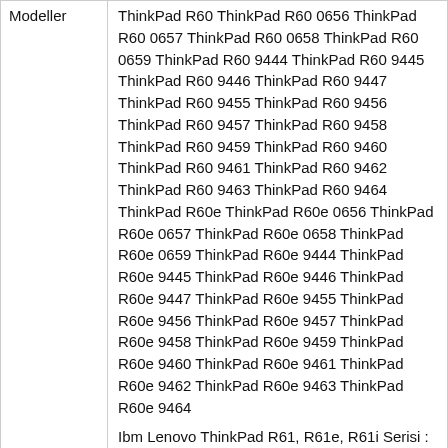| Modeller |  |
| --- | --- |
| Modeller | ThinkPad R60 ThinkPad R60 0656 ThinkPad R60 0657 ThinkPad R60 0658 ThinkPad R60 0659 ThinkPad R60 9444 ThinkPad R60 9445 ThinkPad R60 9446 ThinkPad R60 9447 ThinkPad R60 9455 ThinkPad R60 9456 ThinkPad R60 9457 ThinkPad R60 9458 ThinkPad R60 9459 ThinkPad R60 9460 ThinkPad R60 9461 ThinkPad R60 9462 ThinkPad R60 9463 ThinkPad R60 9464 ThinkPad R60e ThinkPad R60e 0656 ThinkPad R60e 0657 ThinkPad R60e 0658 ThinkPad R60e 0659 ThinkPad R60e 9444 ThinkPad R60e 9445 ThinkPad R60e 9446 ThinkPad R60e 9447 ThinkPad R60e 9455 ThinkPad R60e 9456 ThinkPad R60e 9457 ThinkPad R60e 9458 ThinkPad R60e 9459 ThinkPad R60e 9460 ThinkPad R60e 9461 ThinkPad R60e 9462 ThinkPad R60e 9463 ThinkPad R60e 9464 | Ibm Lenovo ThinkPad R61, R61e, R61i Serisi : ThinkPad R61 7642 ThinkPad R61 7643 ThinkPad R61 7644 ThinkPad R61 7645 ThinkPad R61 7646 ThinkPad R61 7647 ThinkPad R61 7648 ThinkPad R61 7649 ThinkPad R61 7650 ThinkPad R61 7657 |